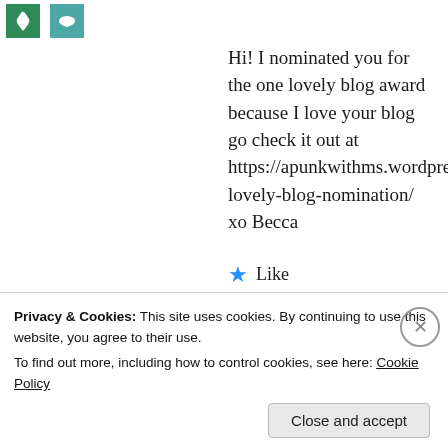[Figure (logo): Two small square icons at top left — a green icon and a teal/blue icon]
Hi! I nominated you for the one lovely blog award because I love your blog go check it out at https://apunkwithms.wordpress.com/2017/01/31/one-lovely-blog-nomination/ xo Becca
Like
Reply
[Figure (photo): Profile photo of HealthyNappyNerdyMommy — partial face/hair visible]
HealthyNappyNerdyMommy
Privacy & Cookies: This site uses cookies. By continuing to use this website, you agree to their use.
To find out more, including how to control cookies, see here: Cookie Policy
Close and accept